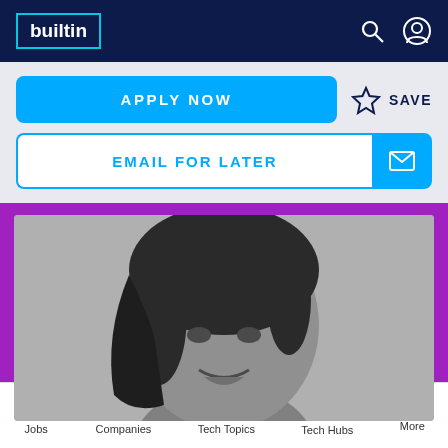builtin
APPLY NOW
SAVE
EMAIL FOR LATER
[Figure (photo): Black and white headshot photo of a smiling woman with shoulder-length hair, set against a decorative purple background with teal diagonal corner accents and dot patterns]
Jobs  Companies  Tech Topics  Tech Hubs  More